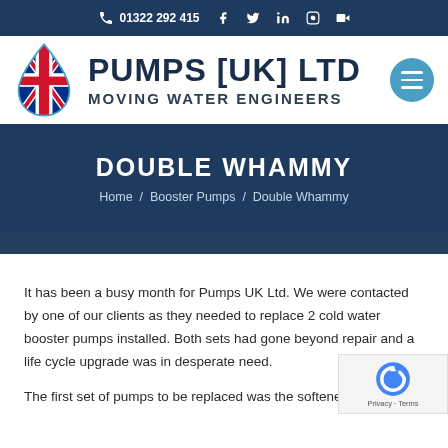01322 292 415 — Pumps UK Ltd navigation bar with social icons
[Figure (logo): Pumps UK Ltd logo with water drop and Union Jack, text: PUMPS [UK] LTD MOVING WATER ENGINEERS]
DOUBLE WHAMMY
Home / Booster Pumps / Double Whammy
It has been a busy month for Pumps UK Ltd. We were contacted by one of our clients as they needed to replace 2 cold water booster pumps installed. Both sets had gone beyond repair and a life cycle upgrade was in desperate need.
The first set of pumps to be replaced was the softened